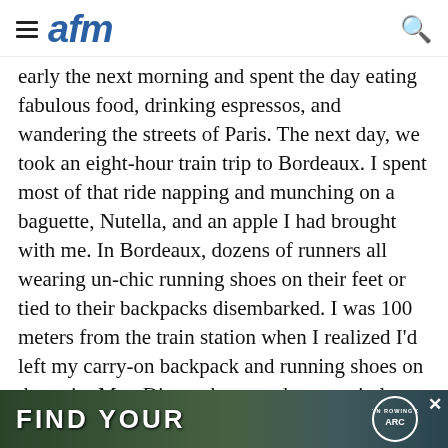afm
early the next morning and spent the day eating fabulous food, drinking espressos, and wandering the streets of Paris. The next day, we took an eight-hour train trip to Bordeaux. I spent most of that ride napping and munching on a baguette, Nutella, and an apple I had brought with me. In Bordeaux, dozens of runners all wearing un-chic running shoes on their feet or tied to their backpacks disembarked. I was 100 meters from the train station when I realized I'd left my carry-on backpack and running shoes on the train. Mon Dieu—the marathon was in less than 24 hours and I had no running shoes! Much to my relief, there was a running store in town. We had just enough time to pick up a pair of shoes before we
[Figure (photo): Advertisement banner at the bottom showing outdoor/rowing scene with text FIND YOUR and Austin Rowing Club logo, with a close button]